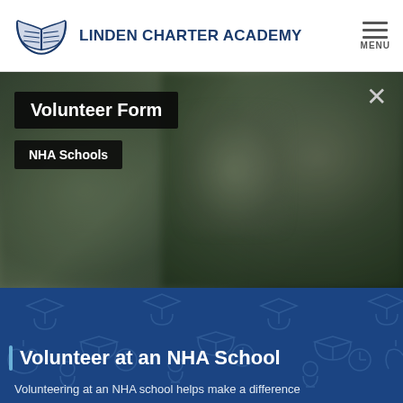LINDEN CHARTER ACADEMY
[Figure (screenshot): Website navigation header with Linden Charter Academy logo (open book) and school name, plus hamburger menu icon and MENU label on the right]
[Figure (photo): Blurred background photo of people in a school setting, with dark overlay. Contains two black button overlays: 'Volunteer Form' and 'NHA Schools', and a close (X) button in top right.]
Volunteer at an NHA School
Volunteering at an NHA school helps make a difference